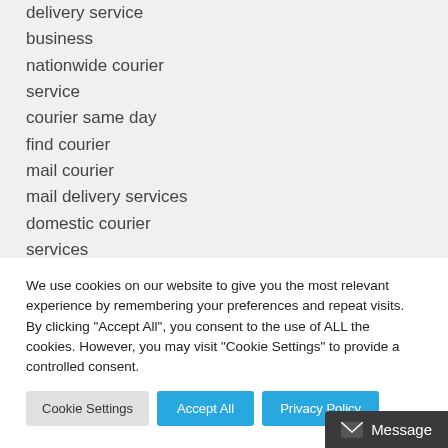delivery service
business
nationwide courier
service
courier same day
find courier
mail courier
mail delivery services
domestic courier
services
courier
We use cookies on our website to give you the most relevant experience by remembering your preferences and repeat visits. By clicking "Accept All", you consent to the use of ALL the cookies. However, you may visit "Cookie Settings" to provide a controlled consent.
Cookie Settings | Accept All | Privacy Policy
Message